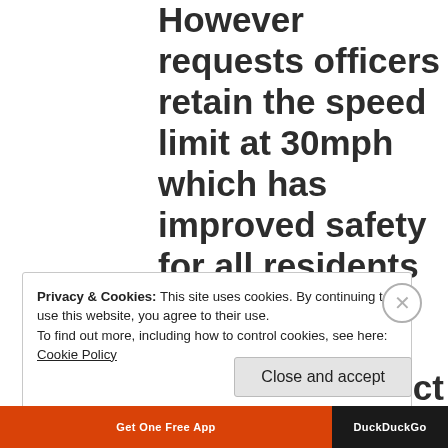However requests officers retain the speed limit at 30mph which has improved safety for all residents and consider any actions to minimise conflict
Privacy & Cookies: This site uses cookies. By continuing to use this website, you agree to their use.
To find out more, including how to control cookies, see here: Cookie Policy
Close and accept